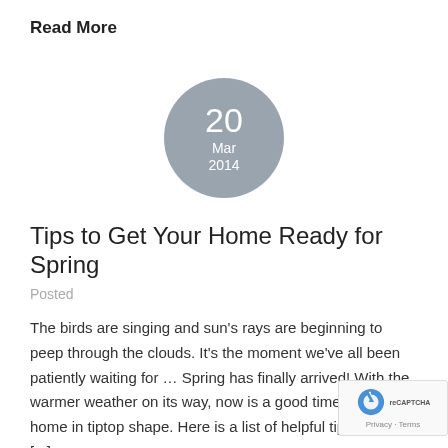Read More
[Figure (other): Circular date badge showing '20 Mar 2014' in white text on a grey circle background]
Tips to Get Your Home Ready for Spring
Posted
The birds are singing and sun's rays are beginning to peep through the clouds. It's the moment we've all been patiently waiting for … Spring has finally arrived! With the warmer weather on its way, now is a good time to get your home in tiptop shape. Here is a list of helpful tips to get [...]